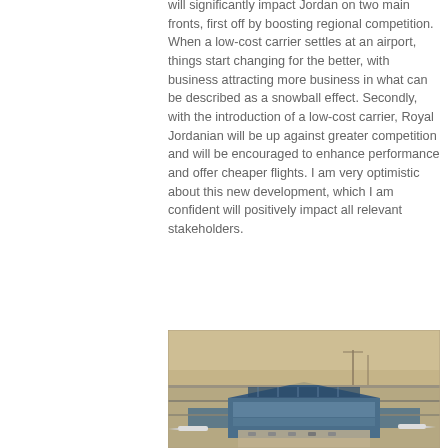will significantly impact Jordan on two main fronts, first off by boosting regional competition. When a low-cost carrier settles at an airport, things start changing for the better, with business attracting more business in what can be described as a snowball effect. Secondly, with the introduction of a low-cost carrier, Royal Jordanian will be up against greater competition and will be encouraged to enhance performance and offer cheaper flights. I am very optimistic about this new development, which I am confident will positively impact all relevant stakeholders.
[Figure (photo): Aerial photograph of an airport terminal and runway, showing the terminal building with a distinctive roof and surrounding tarmac with aircraft.]